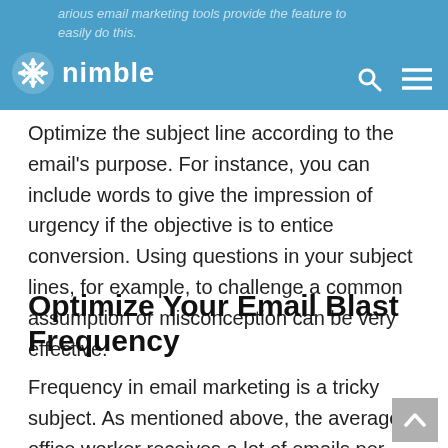nimble — various email marketing tools provide the feature to easily do this.
Optimize the subject line according to the email's purpose. For instance, you can include words to give the impression of urgency if the objective is to entice conversion. Using questions in your subject lines, for example, to challenge a common assumption or misconception can be very effective.
Optimize Your Email Blast Frequency
Frequency in email marketing is a tricky subject. As mentioned above, the average office worker receives a lot of emails per day, and if your email is sent at the